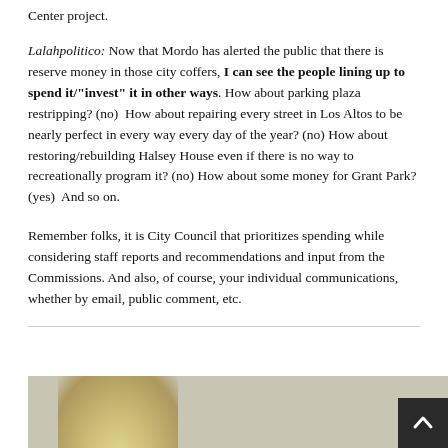Center project.
Lalahpolitico: Now that Mordo has alerted the public that there is reserve money in those city coffers, I can see the people lining up to spend it/"invest" it in other ways. How about parking plaza restripping? (no)  How about repairing every street in Los Altos to be nearly perfect in every way every day of the year? (no) How about restoring/rebuilding Halsey House even if there is no way to recreationally program it? (no) How about some money for Grant Park? (yes)  And so on.
Remember folks, it is City Council that prioritizes spending while considering staff reports and recommendations and input from the Commissions. And also, of course, your individual communications, whether by email, public comment, etc.
[Figure (photo): Partial view of a person with blonde hair, bottom portion of image visible]